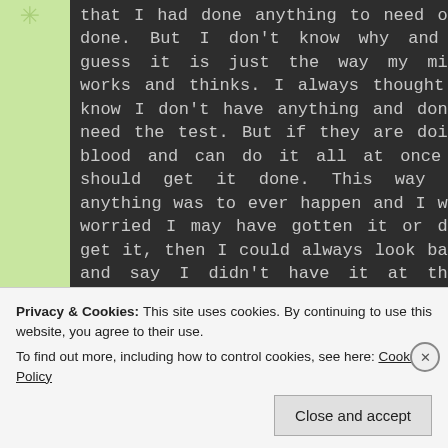that I had done anything to need one done. But I don't know why and I guess it is just the way my mind works and thinks. I always thought I know I don't have anything and don't need the test. But if they are doing blood and can do it all at once I should get it done. This way if anything was to ever happen and I was worried I may have gotten it or did get it, then I could always look back and say I didn't have it at this point, this point or this point it had to of come from here or there. I always had the thought if I was in or at the hospital and they did something or a doctors office or helped someone some time and got exposed or was
Privacy & Cookies: This site uses cookies. By continuing to use this website, you agree to their use.
To find out more, including how to control cookies, see here: Cookie Policy
Close and accept